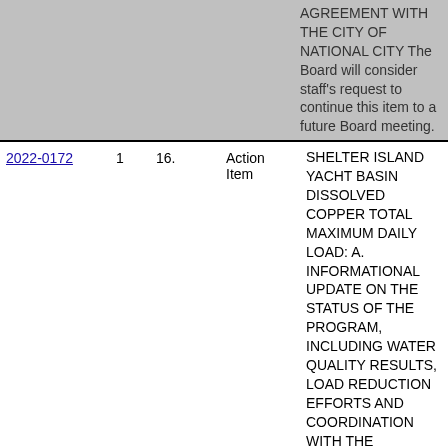AGREEMENT WITH THE CITY OF NATIONAL CITY The Board will consider staff's request to continue this item to a future Board meeting.
| ID | Col2 | Item No. | Type | Description |
| --- | --- | --- | --- | --- |
| 2022-0172 | 1 | 16. | Action Item | SHELTER ISLAND YACHT BASIN DISSOLVED COPPER TOTAL MAXIMUM DAILY LOAD: A. INFORMATIONAL UPDATE ON THE STATUS OF THE PROGRAM, INCLUDING WATER QUALITY RESULTS, LOAD REDUCTION EFFORTS AND COORDINATION WITH THE REGIONAL WATER QUALITY CONTROL BOARD ON TMDL IMPLEMENTATION ACTIONS; AND B. PRESENTATION OF |